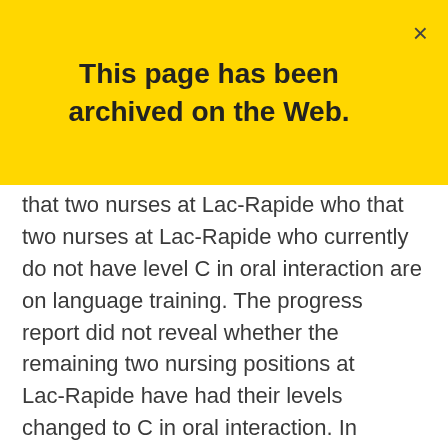This page has been archived on the Web.
that two nurses at Lac-Rapide who currently do not have level C in oral interaction are on language training. The progress report did not reveal whether the remaining two nursing positions at Lac-Rapide have had their levels changed to C in oral interaction. In addition, the Department raised the previously asymmetrical linguistic profiles (in other words, the profile differed